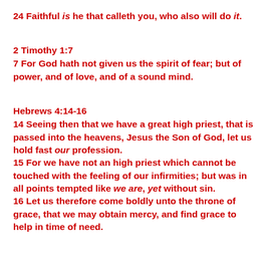24 Faithful is he that calleth you, who also will do it.
2 Timothy 1:7
7 For God hath not given us the spirit of fear; but of power, and of love, and of a sound mind.
Hebrews 4:14-16
14 Seeing then that we have a great high priest, that is passed into the heavens, Jesus the Son of God, let us hold fast our profession.
15 For we have not an high priest which cannot be touched with the feeling of our infirmities; but was in all points tempted like we are, yet without sin.
16 Let us therefore come boldly unto the throne of grace, that we may obtain mercy, and find grace to help in time of need.